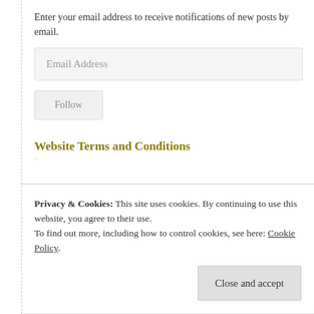Enter your email address to receive notifications of new posts by email.
Email Address
Follow
Website Terms and Conditions
Privacy & Cookies: This site uses cookies. By continuing to use this website, you agree to their use.
To find out more, including how to control cookies, see here: Cookie Policy.
Close and accept